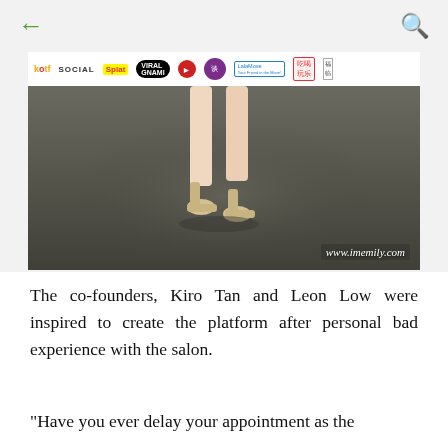← (back) | (search)
[Figure (photo): Photo of a woman's legs wearing high-heeled sandals standing on a dark carpeted floor in front of an event backdrop with multiple sponsor logos including KOTf, Social, Viral Gnami, and others. Watermark reads www.imemily.com]
The co-founders, Kiro Tan and Leon Low were inspired to create the platform after personal bad experience with the salon.
"Have you ever delay your appointment as the